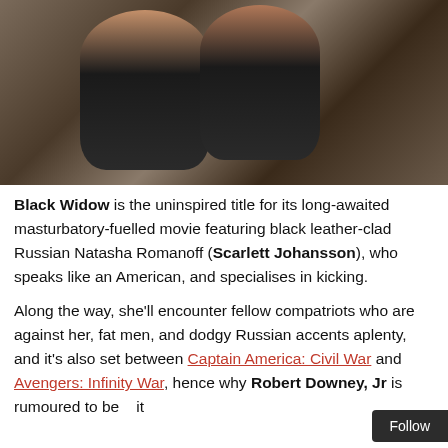[Figure (photo): Two women in black leather jackets on a motorcycle, action scene, blurred urban background with old European-style buildings]
Black Widow is the uninspired title for its long-awaited masturbatory-fuelled movie featuring black leather-clad Russian Natasha Romanoff (Scarlett Johansson), who speaks like an American, and specialises in kicking.
Along the way, she'll encounter fellow compatriots who are against her, fat men, and dodgy Russian accents aplenty, and it's also set between Captain America: Civil War and Avengers: Infinity War, hence why Robert Downey, Jr is rumoured to be in it